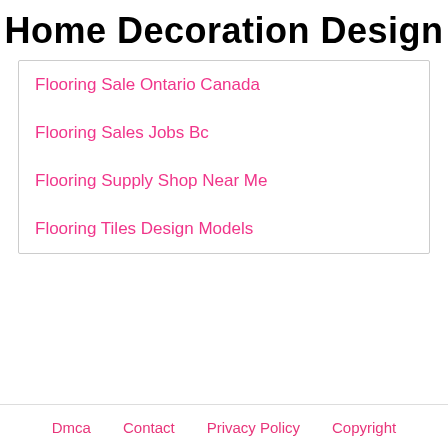Home Decoration Design
Flooring Sale Ontario Canada
Flooring Sales Jobs Bc
Flooring Supply Shop Near Me
Flooring Tiles Design Models
Dmca   Contact   Privacy Policy   Copyright